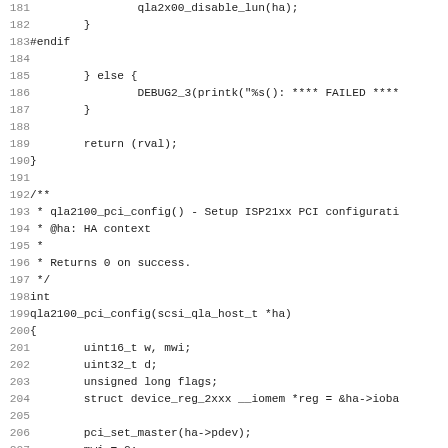Source code listing, lines 181-212, C language kernel driver code for qla2100_pci_config function